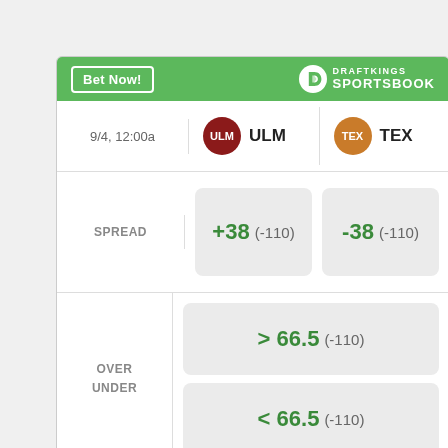[Figure (infographic): DraftKings Sportsbook betting widget showing odds for ULM vs TEX game on 9/4, 12:00a. Spread: ULM +38 (-110), TEX -38 (-110). Over/Under: > 66.5 (-110) and < 66.5 (-110).]
Odds/Lines subject to change. See draftkings.com for details.